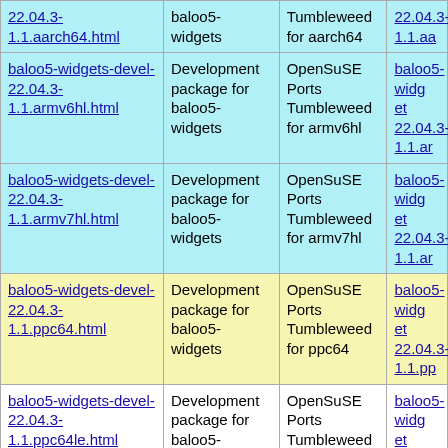| Package | Description | Distribution | Download |
| --- | --- | --- | --- |
| 22.04.3-1.1.aarch64.html | baloo5-widgets | Tumbleweed for aarch64 | 22.04.3-1.1.aa |
| baloo5-widgets-devel-22.04.3-1.1.armv6hl.html | Development package for baloo5-widgets | OpenSuSE Ports Tumbleweed for armv6hl | baloo5-widget 22.04.3-1.1.ar |
| baloo5-widgets-devel-22.04.3-1.1.armv7hl.html | Development package for baloo5-widgets | OpenSuSE Ports Tumbleweed for armv7hl | baloo5-widget 22.04.3-1.1.ar |
| baloo5-widgets-devel-22.04.3-1.1.ppc64.html | Development package for baloo5-widgets | OpenSuSE Ports Tumbleweed for ppc64 | baloo5-widget 22.04.3-1.1.pp |
| baloo5-widgets-devel-22.04.3-1.1.ppc64le.html | Development package for baloo5-widgets | OpenSuSE Ports Tumbleweed for ppc64le | baloo5-widget 22.04.3-1.1.pp |
| baloo5-widgets-devel-21.12.3-bp154.1.39.aarch64.html | Development package for baloo5-widgets | OpenSuSE Leap 15.4 for aarch64 | baloo5-widget 21.12.3-bp154.1.39.aa |
| baloo5-widgets-devel-21.12.3- | Development package for | OpenSuSE Leap 15.4 | baloo5-widget 21.12.3- |